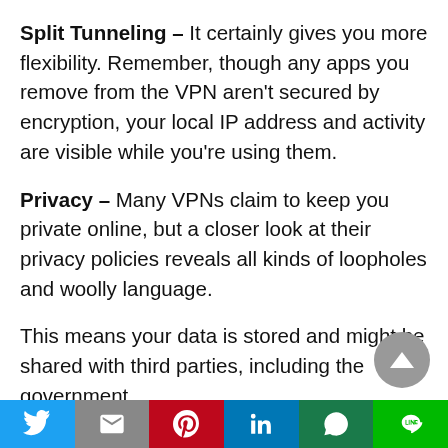Split Tunneling – It certainly gives you more flexibility. Remember, though any apps you remove from the VPN aren't secured by encryption, your local IP address and activity are visible while you're using them.
Privacy – Many VPNs claim to keep you private online, but a closer look at their privacy policies reveals all kinds of loopholes and woolly language.
This means your data is stored and might be shared with third parties, including the government.